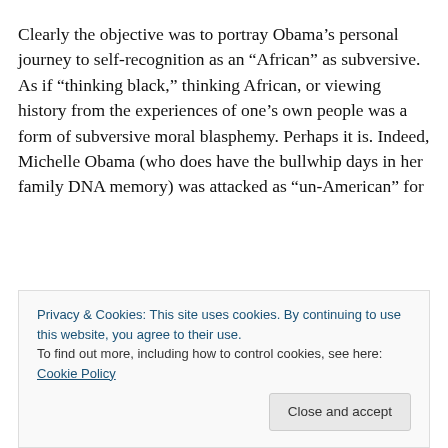Clearly the objective was to portray Obama’s personal journey to self-recognition as an “African” as subversive. As if “thinking black,” thinking African, or viewing history from the experiences of one’s own people was a form of subversive moral blasphemy. Perhaps it is. Indeed, Michelle Obama (who does have the bullwhip days in her family DNA memory) was attacked as “un-American” for
Privacy & Cookies: This site uses cookies. By continuing to use this website, you agree to their use.
To find out more, including how to control cookies, see here: Cookie Policy
not his legacy, or his basis of analysis and frame of